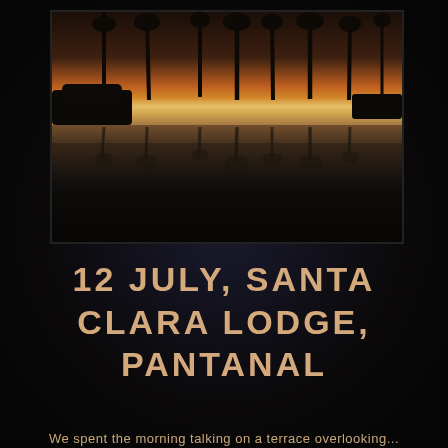[Figure (photo): Twilight/sunset landscape photo showing silhouettes of tall palm trees reflected in still water of the Pantanal wetlands. Sky shows orange and cream colors near horizon fading to dark. Foreground dark with trees and shrubs reflected in water.]
12 JULY, SANTA CLARA LODGE, PANTANAL
We spent the morning talking on a terrace overlooking...